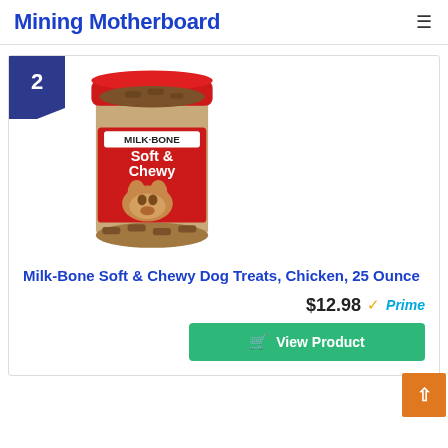Mining Motherboard
2
[Figure (photo): Milk-Bone Soft & Chewy dog treats in a clear jar with red lid and red label showing a dog]
Milk-Bone Soft & Chewy Dog Treats, Chicken, 25 Ounce
$12.98 Prime
View Product